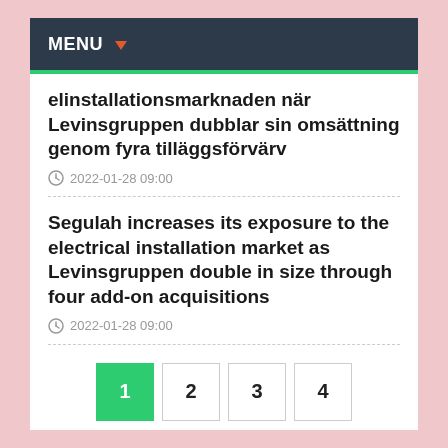MENU
elinstallationsmarknaden när Levinsgruppen dubblar sin omsättning genom fyra tilläggsförvärv
2022-01-28 09:00
Segulah increases its exposure to the electrical installation market as Levinsgruppen double in size through four add-on acquisitions
2022-01-28 09:00
1
2
3
4